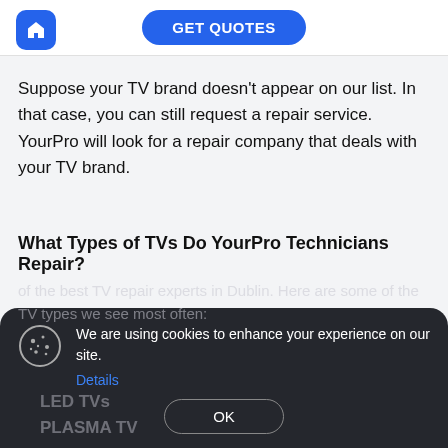GET QUOTES
Suppose your TV brand doesn't appear on our list. In that case, you can still request a repair service. YourPro will look for a repair company that deals with your TV brand.
What Types of TVs Do YourPro Technicians Repair?
[Figure (screenshot): Cookie consent popup overlay on a dark background, showing cookie icon, message 'We are using cookies to enhance your experience on our site.', a 'Details' blue link, and an 'OK' button. Behind the overlay, partially visible text mentions TV repair experts in Dublin and list items LED TVs and PLASMA TV.]